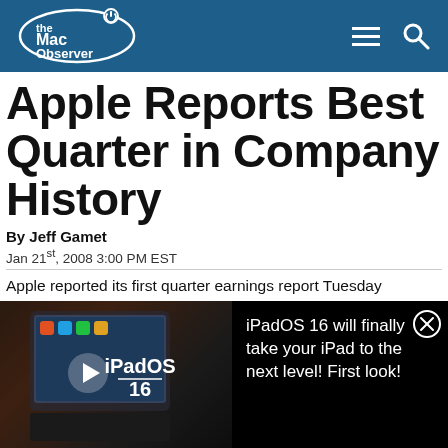the Mac Observer
Apple Reports Best Quarter in Company History
By Jeff Gamet
Jan 21st, 2008 3:00 PM EST
Apple reported its first quarter earnings report Tuesday
[Figure (screenshot): iPadOS 16 video ad thumbnail showing an iPad with keyboard, play button overlay, and iPadOS 16 text logo]
iPadOS 16 will finally take your iPad to the next level! First look!